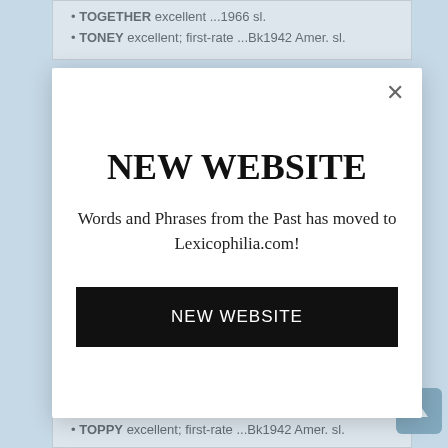TOGETHER excellent ...1966 sl.
TONEY excellent; first-rate ...Bk1942 Amer. sl.
NEW WEBSITE
Words and Phrases from the Past has moved to Lexicophilia.com!
NEW WEBSITE
TOPPING excellent; splendid ...1822 UK sl.
TOPPY excellent; first-rate ...Bk1942 Amer. sl.